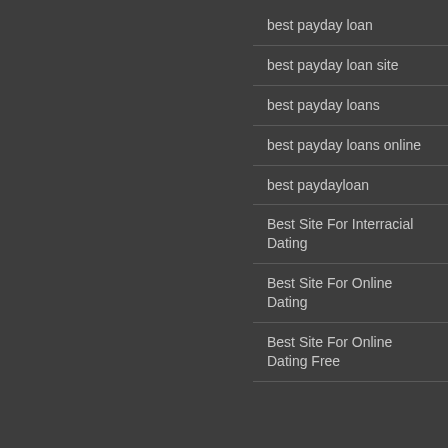best payday loan
best payday loan site
best payday loans
best payday loans online
best paydayloan
Best Site For Interracial Dating
Best Site For Online Dating
Best Site For Online Dating Free